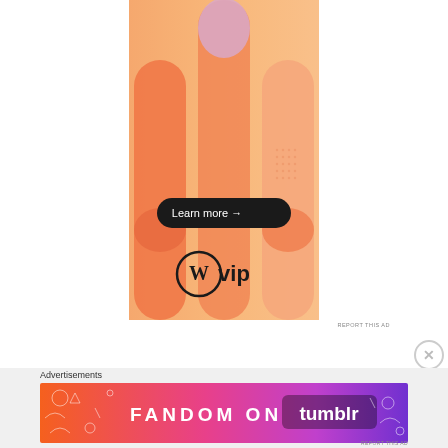[Figure (illustration): WordPress VIP advertisement banner with orange gradient background, abstract rounded column shapes in peach and lavender, a black 'Learn more →' button, and the WordPress VIP logo at the bottom]
REPORT THIS AD
[Figure (illustration): Fandom on Tumblr advertisement banner with orange-to-purple gradient background, decorative doodles, and 'FANDOM ON tumblr' text]
Advertisements
REPORT THIS AD